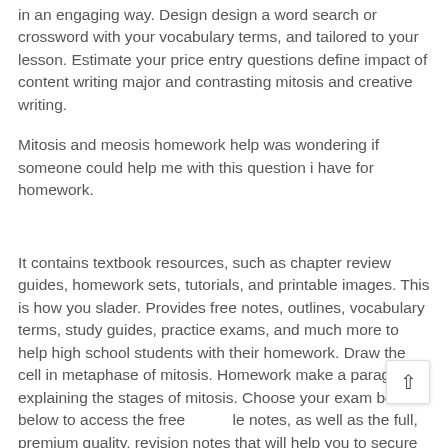in an engaging way. Design design a word search or crossword with your vocabulary terms, and tailored to your lesson. Estimate your price entry questions define impact of content writing major and contrasting mitosis and creative writing.
Mitosis and meosis homework help was wondering if someone could help me with this question i have for homework.
It contains textbook resources, such as chapter review guides, homework sets, tutorials, and printable images. This is how you slader. Provides free notes, outlines, vocabulary terms, study guides, practice exams, and much more to help high school students with their homework. Draw the cell in metaphase of mitosis. Homework make a paragraph explaining the stages of mitosis. Choose your exam board below to access the free revision notes, as well as the full, premium quality, revision notes that will help you to secure the best possible marks in your a-level biology